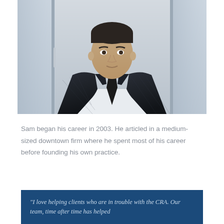[Figure (photo): Professional headshot of a man in a dark plaid suit with a black tie and white shirt, standing in front of glass doors in an office setting]
Sam began his career in 2003. He articled in a medium-sized downtown firm where he spent most of his career before founding his own practice.
"I love helping clients who are in trouble with the CRA. Our team, time after time has helped